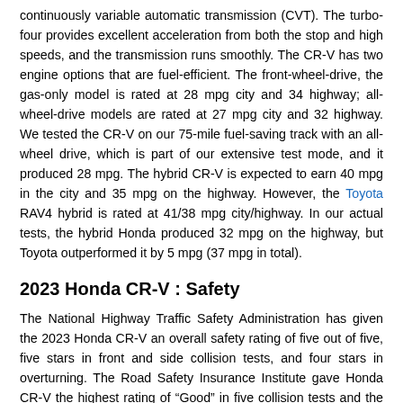continuously variable automatic transmission (CVT). The turbo-four provides excellent acceleration from both the stop and high speeds, and the transmission runs smoothly. The CR-V has two engine options that are fuel-efficient. The front-wheel-drive, the gas-only model is rated at 28 mpg city and 34 highway; all-wheel-drive models are rated at 27 mpg city and 32 highway. We tested the CR-V on our 75-mile fuel-saving track with an all-wheel drive, which is part of our extensive test mode, and it produced 28 mpg. The hybrid CR-V is expected to earn 40 mpg in the city and 35 mpg on the highway. However, the Toyota RAV4 hybrid is rated at 41/38 mpg city/highway. In our actual tests, the hybrid Honda produced 32 mpg on the highway, but Toyota outperformed it by 5 mpg (37 mpg in total).
2023 Honda CR-V : Safety
The National Highway Traffic Safety Administration has given the 2023 Honda CR-V an overall safety rating of five out of five, five stars in front and side collision tests, and four stars in overturning. The Road Safety Insurance Institute gave Honda CR-V the highest rating of “Good” in five collision tests and the second-highest rating of “Acceptable” in a side collision test. The lower trims received the second-lowest rating for how well the headlights illuminated the road, while the Touring trims received the highest “Good” rating for visibility. IIHS uses a different scale to assess collision prevention features. The 2023 Honda CR-V received the highest Superior rating for standard crash prevention systems. Cruise control, blind-spot monitoring, forward collision warning, rearview camera, detour mitigation, detour warning, lane holding